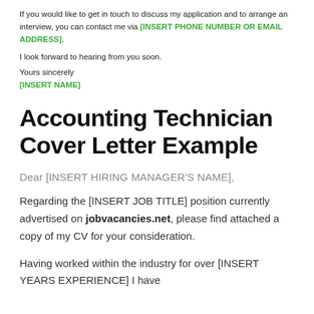If you would like to get in touch to discuss my application and to arrange an interview, you can contact me via [INSERT PHONE NUMBER OR EMAIL ADDRESS].
I look forward to hearing from you soon.
Yours sincerely
[INSERT NAME]
Accounting Technician Cover Letter Example
Dear [INSERT HIRING MANAGER'S NAME],
Regarding the [INSERT JOB TITLE] position currently advertised on jobvacancies.net, please find attached a copy of my CV for your consideration.
Having worked within the industry for over [INSERT YEARS EXPERIENCE] I have